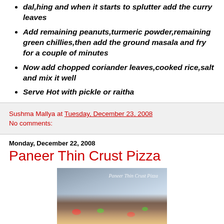dal,hing and when it starts to splutter add the curry leaves
Add remaining peanuts,turmeric powder,remaining green chillies,then add the ground masala and fry for a couple of minutes
Now add chopped coriander leaves,cooked rice,salt and mix it well
Serve Hot with pickle or raitha
Sushma Mallya at Tuesday, December 23, 2008
No comments:
Monday, December 22, 2008
Paneer Thin Crust Pizza
[Figure (photo): Photo of Paneer Thin Crust Pizza with watermark text 'Paneer Thin Crust Pizza']